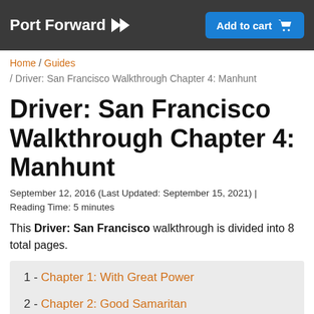Port Forward >> | Add to cart
Home / Guides / Driver: San Francisco Walkthrough Chapter 4: Manhunt
Driver: San Francisco Walkthrough Chapter 4: Manhunt
September 12, 2016 (Last Updated: September 15, 2021) | Reading Time: 5 minutes
This Driver: San Francisco walkthrough is divided into 8 total pages.
1 - Chapter 1: With Great Power
2 - Chapter 2: Good Samaritan